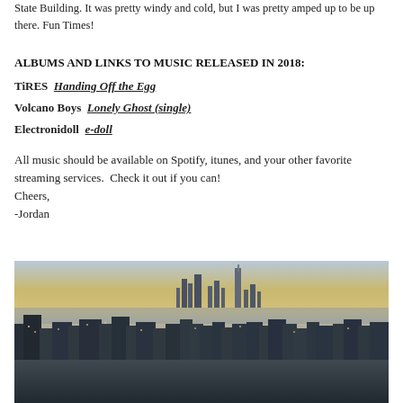State Building. It was pretty windy and cold, but I was pretty amped up to be up there. Fun Times!
ALBUMS AND LINKS TO MUSIC RELEASED IN 2018:
TiRES  Handing Off the Egg
Volcano Boys  Lonely Ghost (single)
Electronidoll  e-doll
All music should be available on Spotify, itunes, and your other favorite streaming services.  Check it out if you can!
Cheers,
-Jordan
[Figure (photo): Aerial panoramic photo of New York City skyline taken from the Empire State Building, showing Manhattan skyscrapers including One World Trade Center, with water visible in the background and a sunset/dusk sky.]